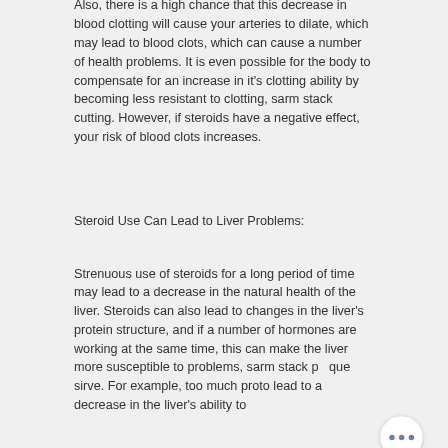Also, there is a high chance that this decrease in blood clotting will cause your arteries to dilate, which may lead to blood clots, which can cause a number of health problems. It is even possible for the body to compensate for an increase in it's clotting ability by becoming less resistant to clotting, sarm stack cutting. However, if steroids have a negative effect, your risk of blood clots increases.
Steroid Use Can Lead to Liver Problems:
Strenuous use of steroids for a long period of time may lead to a decrease in the natural health of the liver. Steroids can also lead to changes in the liver's protein structure, and if a number of hormones are working at the same time, this can make the liver more susceptible to problems, sarm stack pa que sirve. For example, too much proto lead to a decrease in the liver's ability to